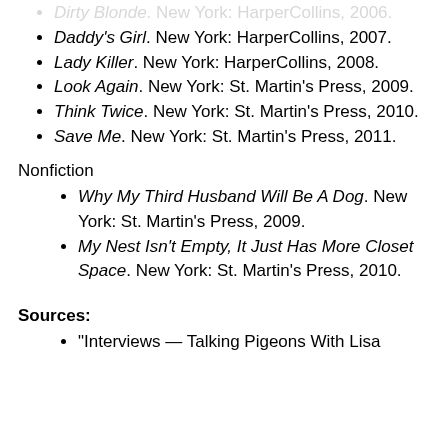Dirty Blonde. New York: HarperCollins, 2006.
Daddy's Girl. New York: HarperCollins, 2007.
Lady Killer. New York: HarperCollins, 2008.
Look Again. New York: St. Martin's Press, 2009.
Think Twice. New York: St. Martin's Press, 2010.
Save Me. New York: St. Martin's Press, 2011.
Nonfiction
Why My Third Husband Will Be A Dog. New York: St. Martin's Press, 2009.
My Nest Isn't Empty, It Just Has More Closet Space. New York: St. Martin's Press, 2010.
Sources:
"Interviews — Talking Pigeons With Lisa